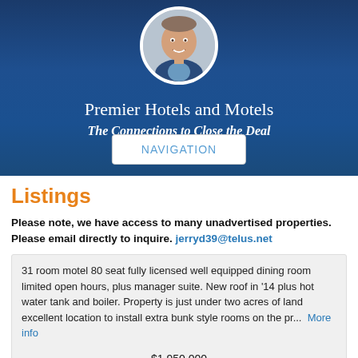[Figure (photo): Banner image with blue hotel background, circular headshot of a smiling man in a suit, title text 'Premier Hotels and Motels', subtitle 'The Connections to Close the Deal', and a NAVIGATION button]
Listings
Please note, we have access to many unadvertised properties. Please email directly to inquire. jerryd39@telus.net
31 room motel 80 seat fully licensed well equipped dining room limited open hours, plus manager suite. New roof in '14 plus hot water tank and boiler. Property is just under two acres of land excellent location to install extra bunk style rooms on the pr... More info
$1,950,000
(2810 35st Street)Listen to the flowing creek from this 32 room motel with